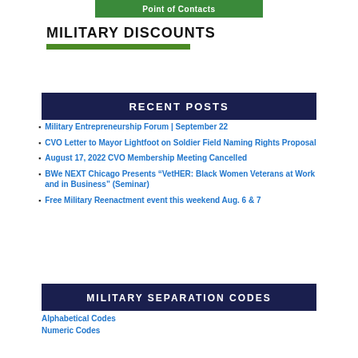Point of Contacts
MILITARY DISCOUNTS
RECENT POSTS
Military Entrepreneurship Forum | September 22
CVO Letter to Mayor Lightfoot on Soldier Field Naming Rights Proposal
August 17, 2022 CVO Membership Meeting Cancelled
BWe NEXT Chicago Presents “VetHER: Black Women Veterans at Work and in Business” (Seminar)
Free Military Reenactment event this weekend Aug. 6 & 7
MILITARY SEPARATION CODES
Alphabetical Codes
Numeric Codes